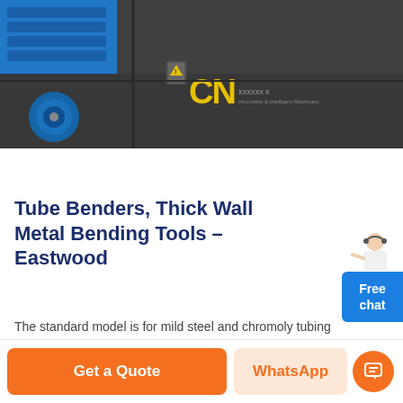[Figure (photo): Industrial tube bending machine with blue motor/components and dark grey frame. Yellow 'CN' logo visible on the machine body with company tagline text.]
Tube Benders, Thick Wall Metal Bending Tools - Eastwood
The standard model is for mild steel and chromoly tubing while the high-capacity model can also handle stainless steel, aluminum and copper. Each bender either comes with a set of forming dies or has the option add on the ones you will need.
Get a Quote
WhatsApp